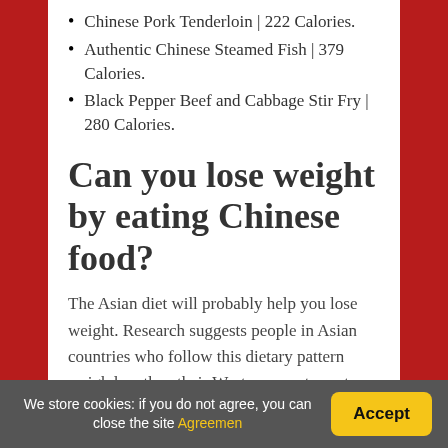Chinese Pork Tenderloin | 222 Calories.
Authentic Chinese Steamed Fish | 379 Calories.
Black Pepper Beef and Cabbage Stir Fry | 280 Calories.
Can you lose weight by eating Chinese food?
The Asian diet will probably help you lose weight. Research suggests people in Asian countries who follow this dietary pattern weigh less than their Western counterparts. That's likely because it's high in healthy foods that keep hunger at bay: whole grains, vegetables and
We store cookies: if you do not agree, you can close the site Agreemen